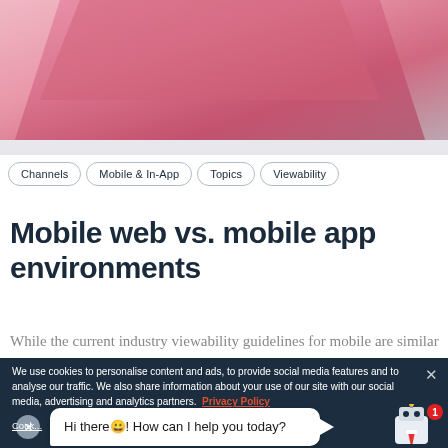[Figure (photo): Top portion of a pink/red notebook or book at an angle on a light surface]
Channels
Mobile & In-App
Topics
Viewability
Mobile web vs. mobile app environments
While the current industry viewability guidelines for mobile are similar to those of display, many people
We use cookies to personalise content and ads, to provide social media features and to analyse our traffic. We also share information about your use of our site with our social media, advertising and analytics partners. Privacy Policy
Hi there😀! How can I help you today?